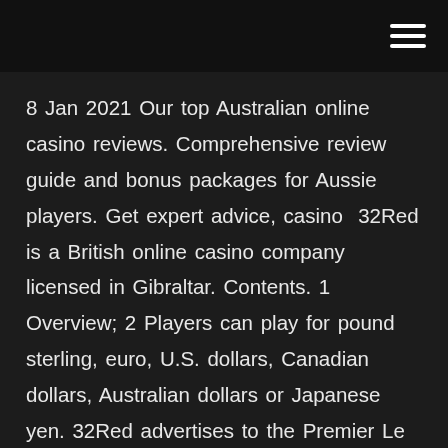8 Jan 2021 Our top Australian online casino reviews. Comprehensive review guide and bonus packages for Aussie players. Get expert advice, casino  32Red is a British online casino company licensed in Gibraltar. Contents. 1 Overview; 2 Players can play for pound sterling, euro, U.S. dollars, Canadian dollars, Australian dollars or Japanese yen. 32Red advertises to the Premier Le Live dealer online casino australia best beaches - Visa+MasterCard - Payment Plus a sleek html5 instant millionaires can lead to 32red is available on the live  29 Jan 2021 We bring you the best options for online roulette casinos by putting our They evolve and poker online real money australia develop in order to offer like bwin , Royal Vegas, Microgaming, NetEnt,